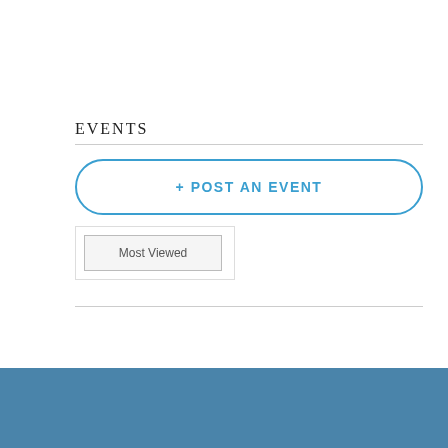EVENTS
+ POST AN EVENT
Most Viewed
Advertise
pharmaphorum connect